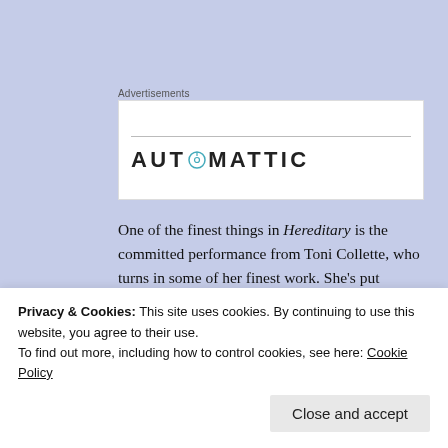Advertisements
[Figure (logo): Automattic logo with stylized compass/O icon replacing the letter O in AUTOMATTIC]
One of the finest things in Hereditary is the committed performance from Toni Collette, who turns in some of her finest work. She’s put through the wringer of
[Figure (photo): Close-up photograph of a woman (Toni Collette) with gray-blonde hair looking upward, partially cropped]
Privacy & Cookies: This site uses cookies. By continuing to use this website, you agree to their use.
To find out more, including how to control cookies, see here: Cookie Policy